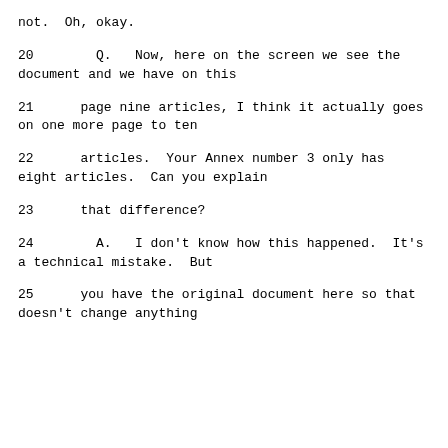not.  Oh, okay.
20        Q.   Now, here on the screen we see the document and we have on this
21      page nine articles, I think it actually goes on one more page to ten
22      articles.  Your Annex number 3 only has eight articles.  Can you explain
23      that difference?
24        A.   I don't know how this happened.  It's a technical mistake.  But
25      you have the original document here so that doesn't change anything